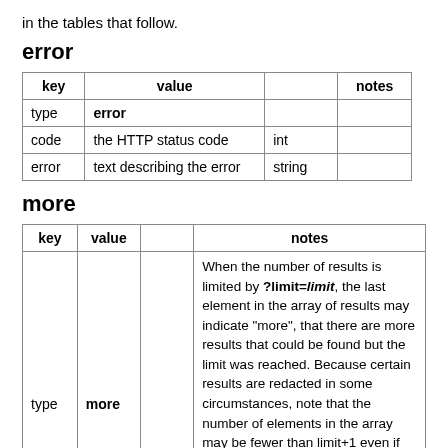in the tables that follow.
error
| key | value |  | notes |
| --- | --- | --- | --- |
| type | error |  |  |
| code | the HTTP status code | int |  |
| error | text describing the error | string |  |
more
| key | value |  | notes |
| --- | --- | --- | --- |
| type | more |  | When the number of results is limited by ?limit=limit, the last element in the array of results may indicate "more", that there are more results that could be found but the limit was reached. Because certain results are redacted in some circumstances, note that the number of elements in the array may be fewer than limit+1 even if the limit is reached. "more" is not included if all the available results are returned. There isn't any way to page through the results: the search needs to be |